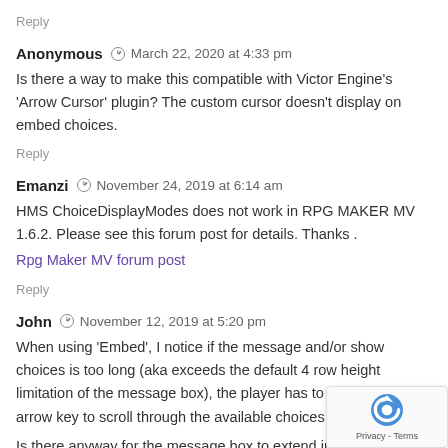Reply
Anonymous  ◎  March 22, 2020 at 4:33 pm
Is there a way to make this compatible with Victor Engine's 'Arrow Cursor' plugin? The custom cursor doesn't display on embed choices.
Reply
Emanzi  ◎  November 24, 2019 at 6:14 am
HMS ChoiceDisplayModes does not work in RPG MAKER MV 1.6.2. Please see this forum post for details. Thanks .
Rpg Maker MV forum post
Reply
John  ◎  November 12, 2019 at 5:20 pm
When using 'Embed', I notice if the message and/or show choices is too long (aka exceeds the default 4 row height limitation of the message box), the player has to use the down arrow key to scroll through the available choices.
Is there anyway for the message box to extend in height to accommodate, so the player doesn't have to scroll and can